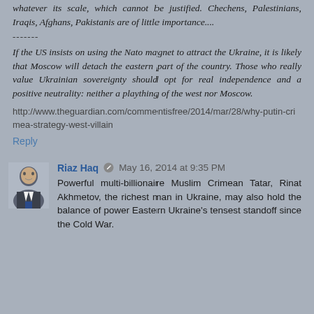whatever its scale, which cannot be justified. Chechens, Palestinians, Iraqis, Afghans, Pakistanis are of little importance....
-------
If the US insists on using the Nato magnet to attract the Ukraine, it is likely that Moscow will detach the eastern part of the country. Those who really value Ukrainian sovereignty should opt for real independence and a positive neutrality: neither a plaything of the west nor Moscow.
http://www.theguardian.com/commentisfree/2014/mar/28/why-putin-crimea-strategy-west-villain
Reply
Riaz Haq   May 16, 2014 at 9:35 PM
Powerful multi-billionaire Muslim Crimean Tatar, Rinat Akhmetov, the richest man in Ukraine, may also hold the balance of power Eastern Ukraine's tensest standoff since the Cold War.